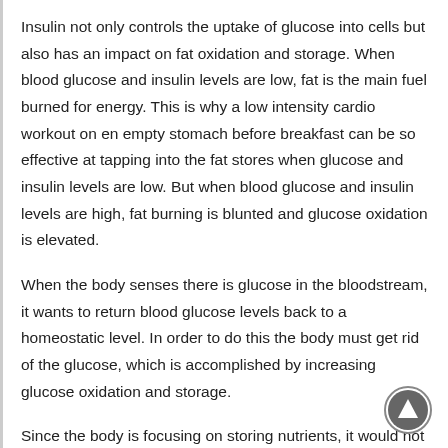Insulin not only controls the uptake of glucose into cells but also has an impact on fat oxidation and storage. When blood glucose and insulin levels are low, fat is the main fuel burned for energy. This is why a low intensity cardio workout on en empty stomach before breakfast can be so effective at tapping into the fat stores when glucose and insulin levels are low. But when blood glucose and insulin levels are high, fat burning is blunted and glucose oxidation is elevated.
When the body senses there is glucose in the bloodstream, it wants to return blood glucose levels back to a homeostatic level. In order to do this the body must get rid of the glucose, which is accomplished by increasing glucose oxidation and storage.
Since the body is focusing on storing nutrients, it would not make sense for fatty acids to be released from adipocytes because they would not be burned. Therefore it is important that blood glucose levels return to normal quickly so the oxidation of fat can once again become the primary source of energy. This can be done by controlling your carbohydrate intake and controlling your insulin secretion by consuming less high GI foods; simple